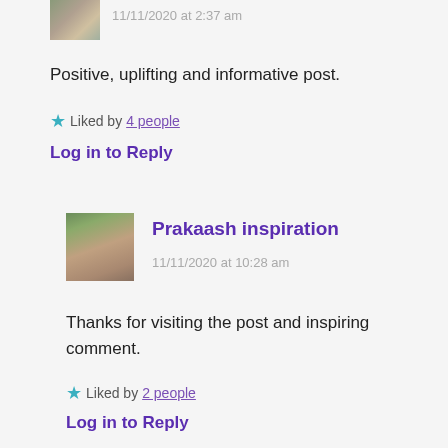[Figure (photo): Small avatar photo of a user wearing a white shirt, top of page]
11/11/2020 at 2:37 am
Positive, uplifting and informative post.
Liked by 4 people
Log in to Reply
[Figure (photo): Avatar photo of Prakaash inspiration, a man with glasses]
Prakaash inspiration
11/11/2020 at 10:28 am
Thanks for visiting the post and inspiring comment.
Liked by 2 people
Log in to Reply